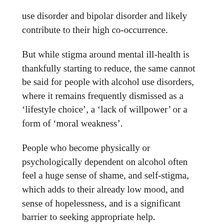use disorder and bipolar disorder and likely contribute to their high co-occurrence.
But while stigma around mental ill-health is thankfully starting to reduce, the same cannot be said for people with alcohol use disorders, where it remains frequently dismissed as a ‘lifestyle choice’, a ‘lack of willpower’ or a form of ‘moral weakness’.
People who become physically or psychologically dependent on alcohol often feel a huge sense of shame, and self-stigma, which adds to their already low mood, and sense of hopelessness, and is a significant barrier to seeking appropriate help.